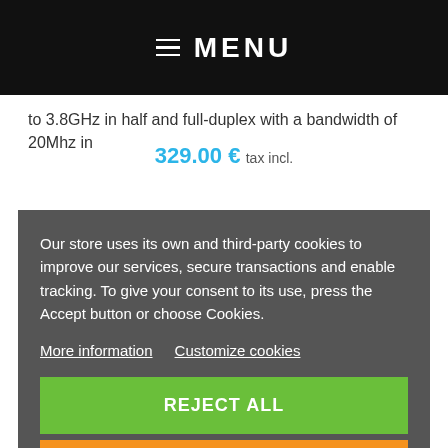≡ MENU
to 3.8GHz in half and full-duplex with a bandwidth of 20Mhz in
329.00 € tax incl.
Our store uses its own and third-party cookies to improve our services, secure transactions and enable tracking. To give your consent to its use, press the Accept button or choose Cookies.
More information  Customize cookies
REJECT ALL
I ACCEPT
SDRPLAY RSPDUO 1KHZ TO 2GHZ DOUBLE TUNER 14 BIT